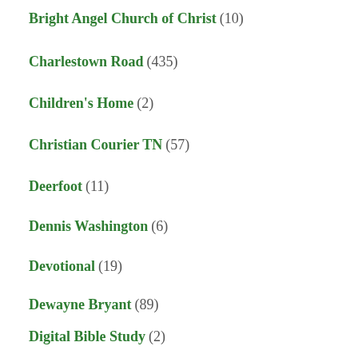Bright Angel Church of Christ (10)
Charlestown Road (435)
Children's Home (2)
Christian Courier TN (57)
Deerfoot (11)
Dennis Washington (6)
Devotional (19)
Dewayne Bryant (89)
Digital Bible Study (2)
Embry Hills (1)